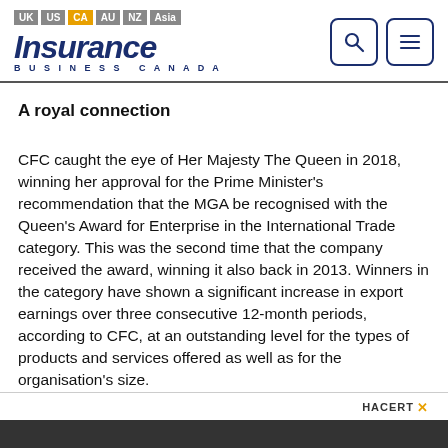Insurance Business Canada — UK | US | CA | AU | NZ | Asia
A royal connection
CFC caught the eye of Her Majesty The Queen in 2018, winning her approval for the Prime Minister's recommendation that the MGA be recognised with the Queen's Award for Enterprise in the International Trade category. This was the second time that the company received the award, winning it also back in 2013. Winners in the category have shown a significant increase in export earnings over three consecutive 12-month periods, according to CFC, at an outstanding level for the types of products and services offered as well as for the organisation's size.
HACERT